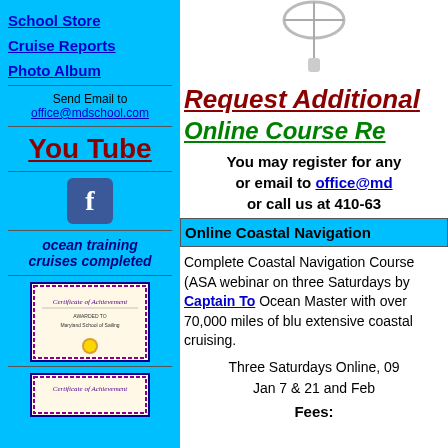School Store
Cruise Reports
Photo Album
Send Email to office@mdschool.com
You Tube
[Figure (logo): Facebook logo icon, blue square with white 'f']
ocean training cruises completed
[Figure (photo): Certificate of Achievement from Maryland School of Sailing]
[Figure (photo): Second Certificate of Achievement partially visible]
[Figure (photo): Nautical instrument (sextant or similar) photo at top]
Request Additional
Online Course Re
You may register for any or email to office@md or call us at 410-63
Online Coastal Navigation
Complete Coastal Navigation Course (ASA webinar on three Saturdays by Captain To Ocean Master with over 70,000 miles of blu extensive coastal cruising.
Three Saturdays Online, 09 Jan 7 & 21 and Feb
Fees: